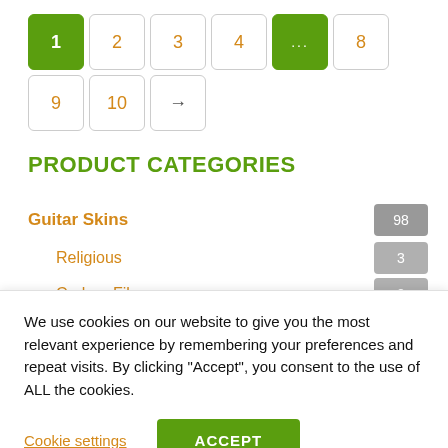[Figure (infographic): Pagination controls showing page buttons: 1 (active/green), 2, 3, 4, ... (green), 8, 9, 10, and a next arrow button]
PRODUCT CATEGORIES
Guitar Skins 98
Religious 3
Carbon Fiber 0
Dragons 1
Abstract 27
We use cookies on our website to give you the most relevant experience by remembering your preferences and repeat visits. By clicking “Accept”, you consent to the use of ALL the cookies.
Cookie settings
ACCEPT